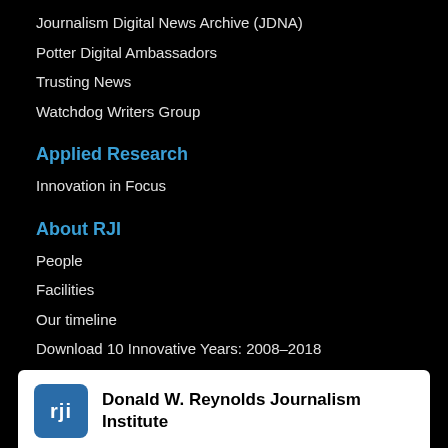Journalism Digital News Archive (JDNA)
Potter Digital Ambassadors
Trusting News
Watchdog Writers Group
Applied Research
Innovation in Focus
About RJI
People
Facilities
Our timeline
Download 10 Innovative Years: 2008–2018
[Figure (logo): Donald W. Reynolds Journalism Institute logo with 'rji' icon in blue square and institution name in bold black text on white background]